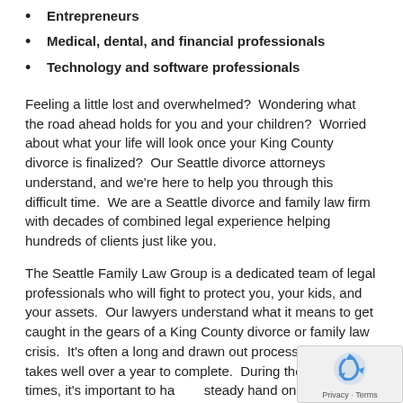Entrepreneurs
Medical, dental, and financial professionals
Technology and software professionals
Feeling a little lost and overwhelmed?  Wondering what the road ahead holds for you and your children?  Worried about what your life will look once your King County divorce is finalized?  Our Seattle divorce attorneys understand, and we're here to help you through this difficult time.  We are a Seattle divorce and family law firm with decades of combined legal experience helping hundreds of clients just like you.
The Seattle Family Law Group is a dedicated team of legal professionals who will fight to protect you, your kids, and your assets.  Our lawyers understand what it means to get caught in the gears of a King County divorce or family law crisis.  It's often a long and drawn out process that often takes well over a year to complete.  During these turbulent times, it's important to have a steady hand on the wheel and a solid team of divorce professionals behind you.